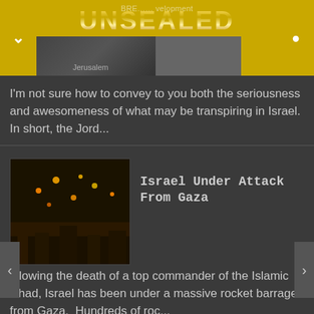UNSEALED — BREAKING development Jerusalem
I'm not sure how to convey to you both the seriousness and awesomeness of what may be transpiring in Israel.  In short, the Jord...
[Figure (photo): Night sky with orange lights over cityscape — rockets over Gaza/Israel]
Israel Under Attack From Gaza
ollowing the death of a top commander of the Islamic Jihad, Israel has been under a massive rocket barrage from Gaza.  Hundreds of roc...
[Figure (photo): Black thumbnail image with text REVELATION 12]
The Revelation 12 Sign Compendium
Deutsche Sprache | En Español LAST UPDATED: August 8th, 2017.  By now you've probably heard about what a number of Christian...